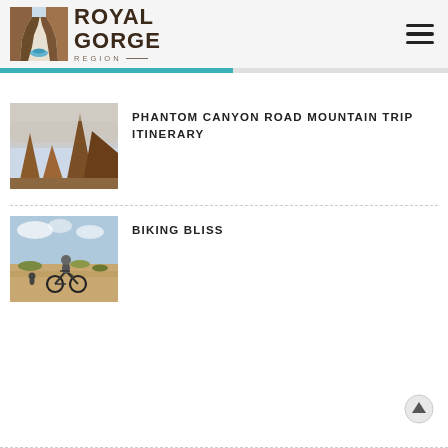[Figure (logo): Royal Gorge Region logo with canyon icon and text]
PHANTOM CANYON ROAD MOUNTAIN TRIP ITINERARY
[Figure (photo): Red rock canyon spires against a sunset sky]
BIKING BLISS
[Figure (photo): Mountain biker riding on sandy desert trail]